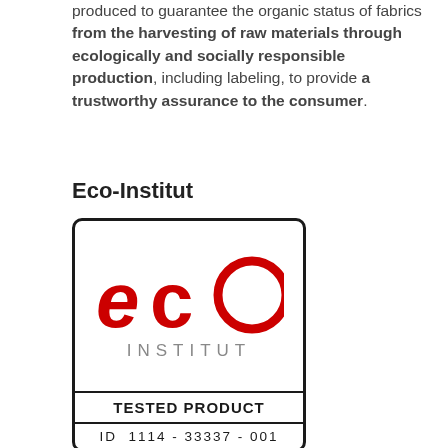produced to guarantee the organic status of fabrics from the harvesting of raw materials through ecologically and socially responsible production, including labeling, to provide a trustworthy assurance to the consumer.
Eco-Institut
[Figure (logo): Eco-Institut logo showing stylized red 'eco' text with circular 'o', grey 'INSTITUT' text below, then 'TESTED PRODUCT' and 'ID 1114 - 33337 - 001' in a bordered box]